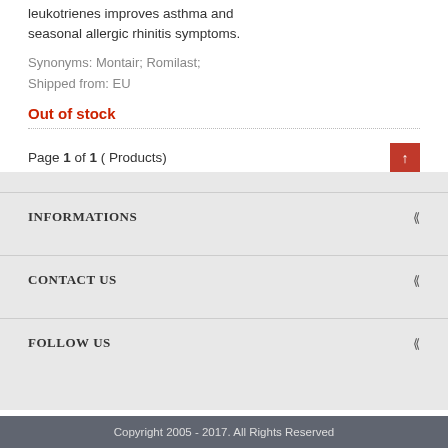leukotrienes improves asthma and seasonal allergic rhinitis symptoms.
Synonyms: Montair; Romilast;
Shipped from: EU
Out of stock
Page 1 of 1 ( Products)
INFORMATIONS
CONTACT US
FOLLOW US
Copyright 2005 - 2017. All Rights Reserved